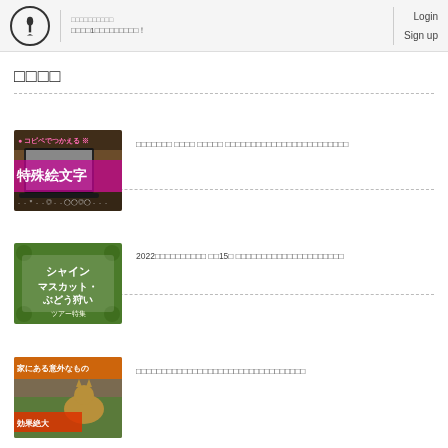ログイン・新規登録
日本1位のブログサービス！
Login
Sign up
新着記事
[Figure (screenshot): Thumbnail image with text コピペでつかえる 特殊絵文字, showing a laptop on a wooden table with decorative emoji-art text overlay in pink and green]
コピペでつかえる 特殊文字 絵文字 デコ文字一覧！使い方・おすすめ紹介まとめ
[Figure (screenshot): Thumbnail image with text シャイン マスカット・ぶどう狩い ツアー特集, showing green grape-themed graphic with decorative leaves]
2022年版シャインマスカット 第15弾 おすすめぶどう狩りツアー特集まとめ
[Figure (photo): Thumbnail photo showing a cat outdoors with text 家にある意外なもの 効果絶大 overlaid]
家にある意外なものでできる！猫よけ対策おすすめランキング